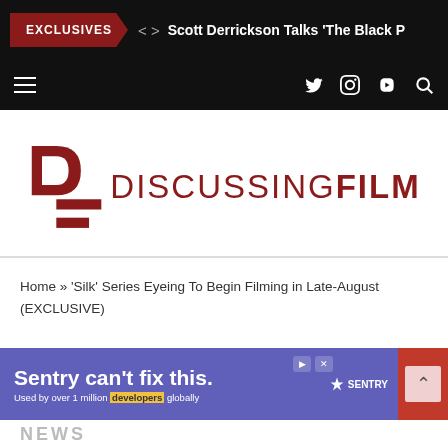EXCLUSIVES  < >  Scott Derrickson Talks 'The Black P
[Figure (logo): DiscussingFilm logo with red DF icon and DISCUSSINGFILM text in dark red]
Home » 'Silk' Series Eyeing To Begin Filming in Late-August (EXCLUSIVE)
[Figure (screenshot): Sentry advertisement banner: 'Sentry can't fix this. Used by over 1 million developers globally' with SENTRY logo]
NEWS